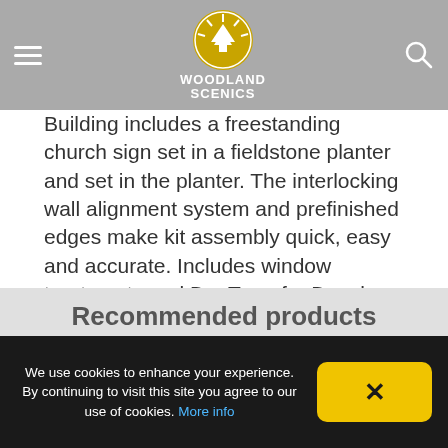Woodland Scenics — navigation bar with hamburger menu and search icon
Building includes a freestanding church sign set in a fieldstone planter and set in the planter. The interlocking wall alignment system and prefinished edges make kit assembly quick, easy and accurate. Includes window treatments and Dry Transfer Decals. See photos for footprint.
Landscape sold separately. Click Contents for list of included materials.
Colors may vary from actual product.
Recommended products
We use cookies to enhance your experience. By continuing to visit this site you agree to our use of cookies. More info